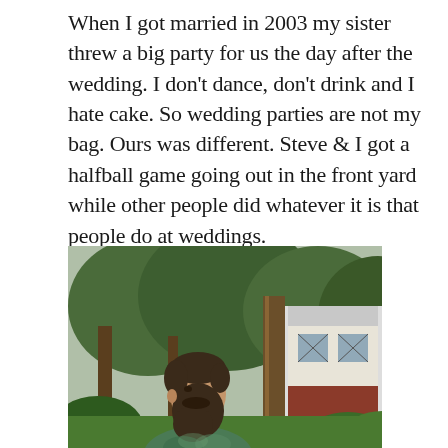When I got married in 2003 my sister threw a big party for us the day after the wedding. I don't dance, don't drink and I hate cake. So wedding parties are not my bag. Ours was different. Steve & I got a halfball game going out in the front yard while other people did whatever it is that people do at weddings.
[Figure (photo): Outdoor photo of a bearded man in a green tie-dye shirt standing in a front yard with large trees, green shrubs, and a red brick Tudor-style house visible in the background.]